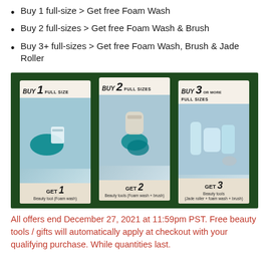Buy 1 full-size > Get free Foam Wash
Buy 2 full-sizes > Get free Foam Wash & Brush
Buy 3+ full-sizes > Get free Foam Wash, Brush & Jade Roller
[Figure (photo): Promotional graphic on dark green background showing three product cards: BUY 1 FULL SIZE - GET 1 Beauty tool (Foam wash); BUY 2 FULL SIZES - GET 2 Beauty tools (Foam wash + brush); BUY 3 OR MORE FULL SIZES - GET 3 Beauty tools (Jade roller + foam wash + brush)]
All offers end December 27, 2021 at 11:59pm PST. Free beauty tools / gifts will automatically apply at checkout with your qualifying purchase. While quantities last.